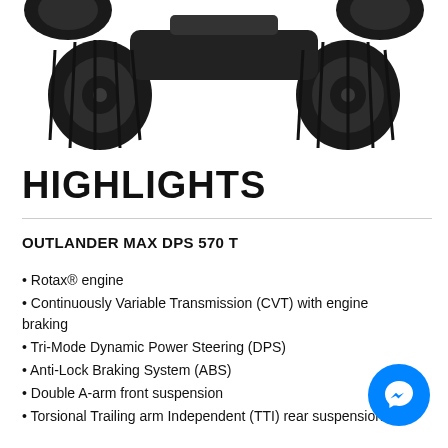[Figure (photo): Partial view of an ATV/quad vehicle from above, showing dark wheels and tires on white background]
HIGHLIGHTS
OUTLANDER MAX DPS 570 T
Rotax® engine
Continuously Variable Transmission (CVT) with engine braking
Tri-Mode Dynamic Power Steering (DPS)
Anti-Lock Braking System (ABS)
Double A-arm front suspension
Torsional Trailing arm Independent (TTI) rear suspension